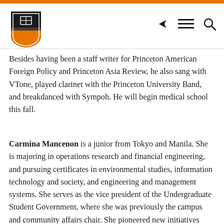Princeton University — Navigation header with logo, share, menu, and search icons
Besides having been a staff writer for Princeton American Foreign Policy and Princeton Asia Review, he also sang with VTone, played clarinet with the Princeton University Band, and breakdanced with Sympoh. He will begin medical school this fall.
Carmina Mancenon is a junior from Tokyo and Manila. She is majoring in operations research and financial engineering, and pursuing certificates in environmental studies, information technology and society, and engineering and management systems. She serves as the vice president of the Undergraduate Student Government, where she was previously the campus and community affairs chair. She pioneered new initiatives such as Princeton University's first Restaurant Week and TigerDeals, and helped organize Communiversity — a longtime town-